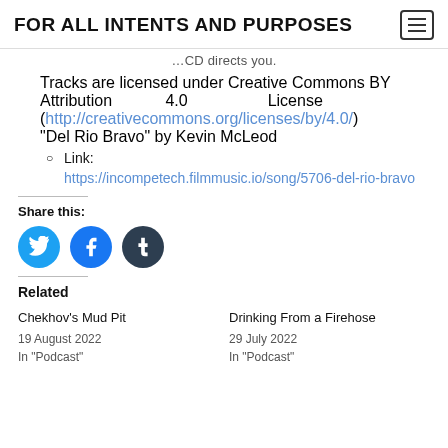FOR ALL INTENTS AND PURPOSES
Tracks are licensed under Creative Commons BY Attribution 4.0 License (http://creativecommons.org/licenses/by/4.0/)
"Del Rio Bravo" by Kevin McLeod
Link: https://incompetech.filmmusic.io/song/5706-del-rio-bravo
Share this:
[Figure (infographic): Social share buttons: Twitter (blue bird icon), Facebook (blue f icon), Tumblr (dark t icon)]
Related
Chekhov's Mud Pit
19 August 2022
In "Podcast"
Drinking From a Firehose
29 July 2022
In "Podcast"